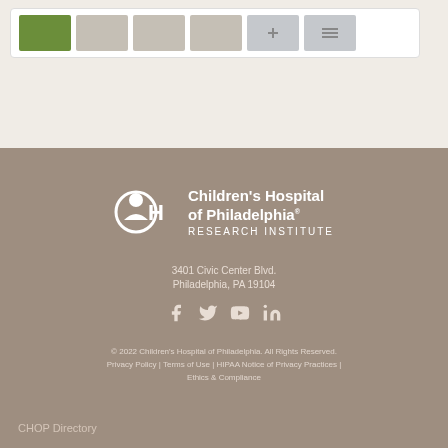[Figure (other): Card strip showing 6 colored thumbnail cards in a white box against a beige background]
[Figure (logo): Children's Hospital of Philadelphia Research Institute logo — white CH circular icon with text]
3401 Civic Center Blvd.
Philadelphia, PA 19104
[Figure (other): Social media icons: Facebook, Twitter, YouTube, LinkedIn]
© 2022 Children's Hospital of Philadelphia. All Rights Reserved.
Privacy Policy | Terms of Use | HIPAA Notice of Privacy Practices | Ethics & Compliance
CHOP Directory